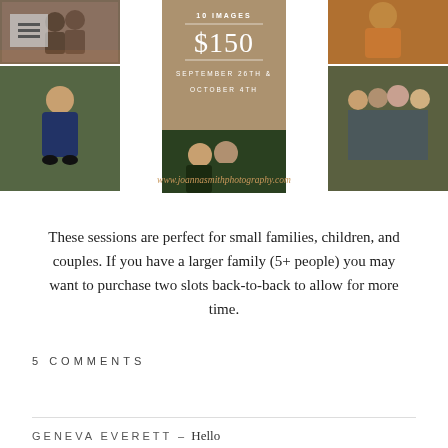[Figure (photo): Photography session promotional collage showing family and couple photos in autumn settings, with a center overlay showing '10 IMAGES $150 SEPTEMBER 26TH & OCTOBER 4TH' and website www.joannasmithphotography.com]
These sessions are perfect for small families, children, and couples. If you have a larger family (5+ people) you may want to purchase two slots back-to-back to allow for more time.
5 COMMENTS
GENEVA EVERETT – Hello